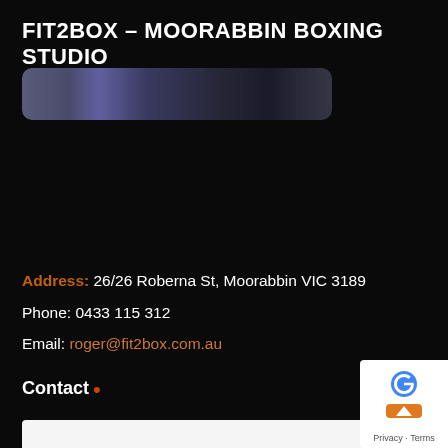FIT2BOX – MOORABBIN BOXING STUDIO
[Figure (photo): Partial photo of boxing studio equipment, dark toned image showing a curved bar/equipment piece against dark background]
Address: 26/26 Roberna St, Moorabbin VIC 3189
Phone: 0433 115 312
Email: roger@fit2box.com.au
Contact
[Figure (other): Google reCAPTCHA / Privacy widget with orange scroll-to-top button, showing Privacy - Terms text]